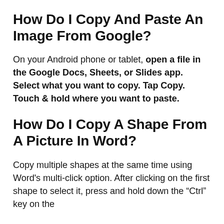How Do I Copy And Paste An Image From Google?
On your Android phone or tablet, open a file in the Google Docs, Sheets, or Slides app. Select what you want to copy. Tap Copy. Touch & hold where you want to paste.
How Do I Copy A Shape From A Picture In Word?
Copy multiple shapes at the same time using Word's multi-click option. After clicking on the first shape to select it, press and hold down the “Ctrl” key on the